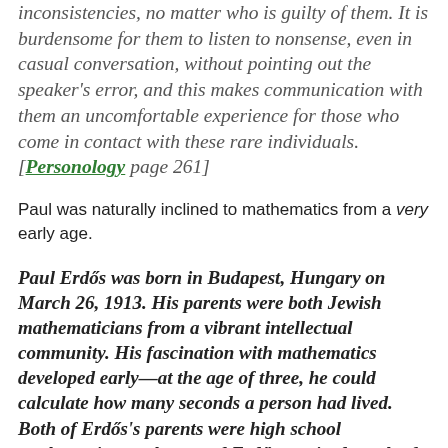inconsistencies, no matter who is guilty of them. It is burdensome for them to listen to nonsense, even in casual conversation, without pointing out the speaker's error, and this makes communication with them an uncomfortable experience for those who come in contact with these rare individuals. [Personology page 261]
Paul was naturally inclined to mathematics from a very early age.
Paul Erdős was born in Budapest, Hungary on March 26, 1913. His parents were both Jewish mathematicians from a vibrant intellectual community. His fascination with mathematics developed early—at the age of three, he could calculate how many seconds a person had lived. Both of Erdős's parents were high school mathematics teachers, and Erdős received much of his early